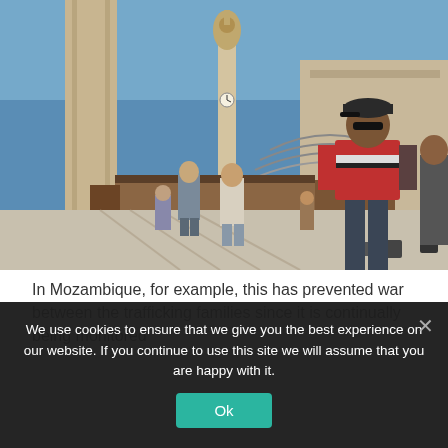[Figure (photo): Outdoor market scene with people walking, a minaret-style tower in the background, market stalls along the sides, and a man in a red jacket standing prominently in the foreground right.]
In Mozambique, for example, this has prevented war between the trafficking families since it is continually being monitored
We use cookies to ensure that we give you the best experience on our website. If you continue to use this site we will assume that you are happy with it.
Ok